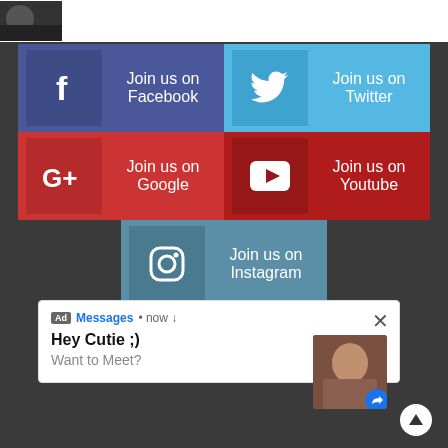[Figure (screenshot): Social media join buttons grid: Facebook (blue), Twitter (light blue), Google+ (red), YouTube (dark red), Instagram (steel blue), followed by an advertisement popup card saying 'Hey Cutie ;) Want to Meet?' with an image and a scroll-up arrow button.]
Join us on Facebook
Join us on Twitter
Join us on Google
Join us on Youtube
Join us on Instagram
Ad Messages • now ↓
Hey Cutie ;)
Want to Meet?